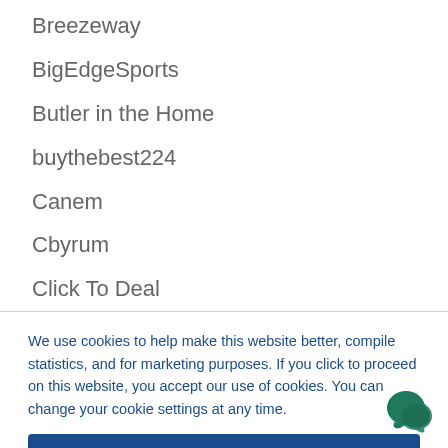Breezeway
BigEdgeSports
Butler in the Home
buythebest224
Canem
Cbyrum
Click To Deal
We use cookies to help make this website better, compile statistics, and for marketing purposes. If you click to proceed on this website, you accept our use of cookies. You can change your cookie settings at any time.
Accept & Continue
Cookie Settings